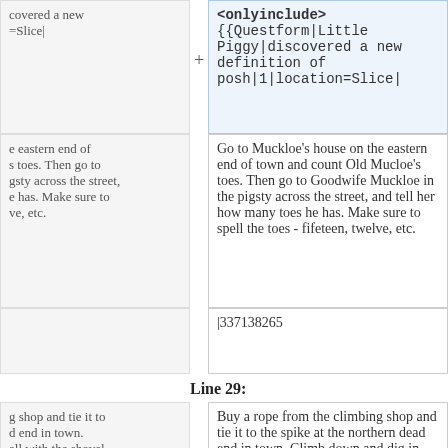covered a new =Slice|
<onlyinclude>{{Questform|Little Piggy|discovered a new definition of posh|1|location=Slice|
e eastern end of s toes. Then go to gsty across the street, e has. Make sure to ve, etc.
Go to Muckloe's house on the eastern end of town and count Old Mucloe's toes. Then go to Goodwife Muckloe in the pigsty across the street, and tell her how many toes he has. Make sure to spell the toes - fifeteen, twelve, etc.
|337138265
Line 29:
g shop and tie it to d end in town. all with the shovel, he torch to get peanuts after a Pig Physician quest.
Buy a rope from the climbing shop and tie it to the spike at the northern dead end in town. Climb down and dig in rockfall with the shovel, then go southwest and light the torch to "illuminate" the bush. You'll get peanuts after a bit, which can be used in the Pig Physician quest.